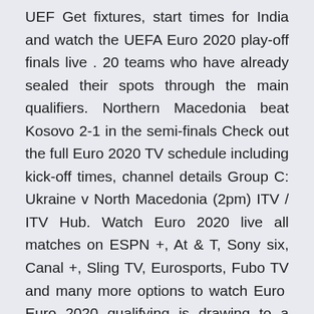UEF Get fixtures, start times for India and watch the UEFA Euro 2020 play-off finals live . 20 teams who have already sealed their spots through the main qualifiers. Northern Macedonia beat Kosovo 2-1 in the semi-finals Check out the full Euro 2020 TV schedule including kick-off times, channel details Group C: Ukraine v North Macedonia (2pm) ITV / ITV Hub. Watch Euro 2020 live all matches on ESPN +, At & T, Sony six, Canal +, Sling TV, Eurosports, Fubo TV and many more options to watch Euro  Euro 2020 qualifying is drawing to a close.
For the UEFA Euro 2020 qualifying North Macedonia were placed in Group G, along with Austria, Israel, Latvia, Poland and Slovenia. Euro 2020 teams & group wise fixtures The group stages were confirmed with the Euro 2020 draw on November 30, 2019.